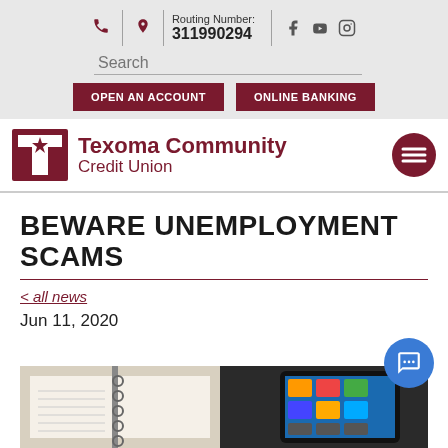Routing Number: 311990294
[Figure (screenshot): Search field with text 'Search', and two buttons: 'OPEN AN ACCOUNT' and 'ONLINE BANKING']
[Figure (logo): Texoma Community Credit Union logo with red T-star emblem and menu hamburger button]
BEWARE UNEMPLOYMENT SCAMS
< all news
Jun 11, 2020
[Figure (photo): Photo of an open planner/notebook next to a smartphone on a dark surface]